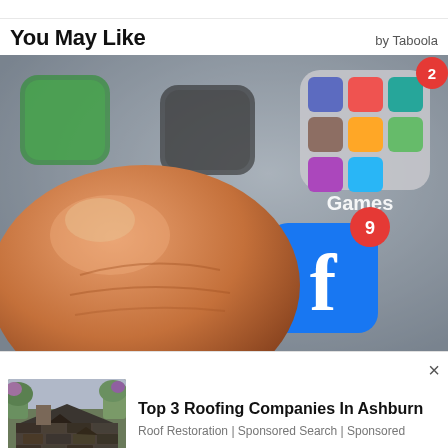You May Like
by Taboola
[Figure (photo): Close-up photograph of a finger pressing on a smartphone screen showing a Facebook app icon with a notification badge showing 9, a Games folder with 2 notification, and other blurred app icons in the background.]
[Figure (photo): Thumbnail photo of a damaged roof with broken shingles on a house, with trees visible in the background.]
Top 3 Roofing Companies In Ashburn
Roof Restoration | Sponsored Search | Sponsored